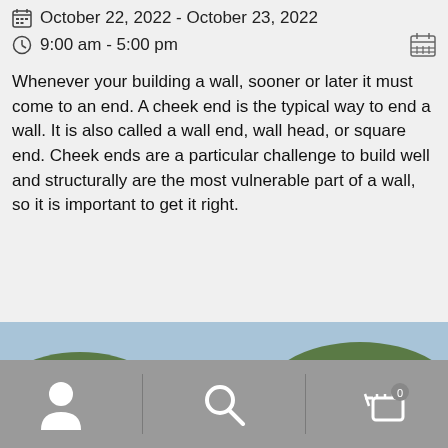October 22, 2022 - October 23, 2022
9:00 am - 5:00 pm
Whenever your building a wall, sooner or later it must come to an end. A cheek end is the typical way to end a wall. It is also called a wall end, wall head, or square end. Cheek ends are a particular challenge to build well and structurally are the most vulnerable part of a wall, so it is important to get it right.
[Figure (photo): Five people wearing masks standing outdoors at a construction/stone-laying site with trees and hills in the background. They are holding tools.]
User icon | Search icon | Cart icon (0)